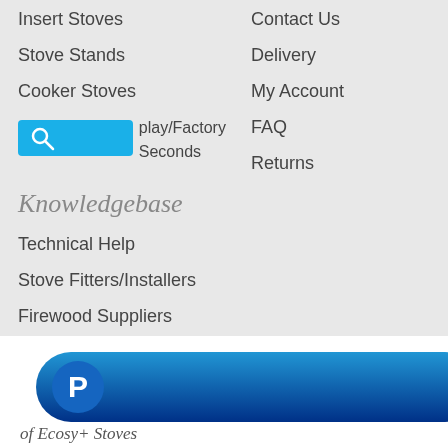Insert Stoves
Contact Us
Stove Stands
Delivery
Cooker Stoves
My Account
Ex-Display/Factory Seconds
FAQ
Returns
Knowledgebase
Technical Help
Stove Fitters/Installers
Firewood Suppliers
Stove Photo Gallery
Stove Videos
Stove Reviews
[Figure (logo): PayPal button with blue gradient background and PayPal P logo]
of Ecosy+ Stoves